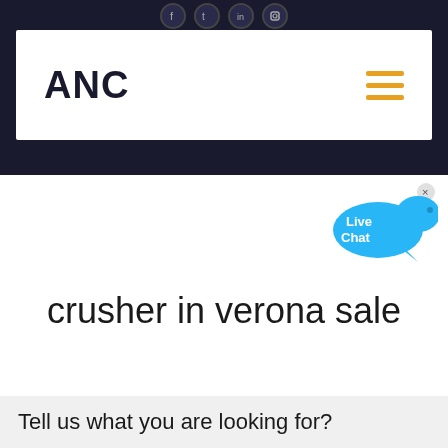ANC
[Figure (logo): ANC logo text in bold dark letters with hamburger menu icon in orange on the right]
[Figure (illustration): Live Chat bubble icon in blue with a small x close button]
crusher in verona sale
Tell us what you are looking for?